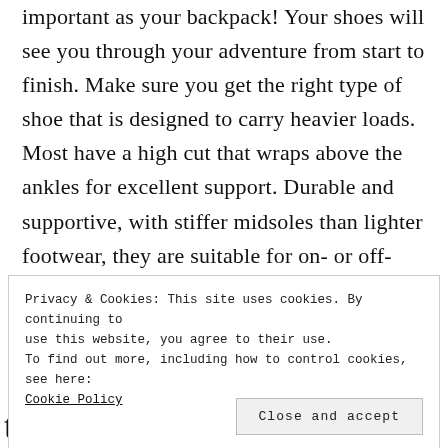important as your backpack! Your shoes will see you through your adventure from start to finish. Make sure you get the right type of shoe that is designed to carry heavier loads. Most have a high cut that wraps above the ankles for excellent support. Durable and supportive, with stiffer midsoles than lighter footwear, they are suitable for on- or off-trail travel.
Privacy & Cookies: This site uses cookies. By continuing to use this website, you agree to their use.
To find out more, including how to control cookies, see here:
Cookie Policy
Close and accept
to sync with how and where